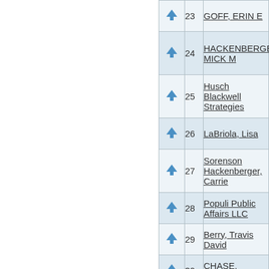|  | # | Name |
| --- | --- | --- |
| ↑ | 23 | GOFF, ERIN E |
| ↑ | 24 | HACKENBERGER, MICK M |
| ↑ | 25 | Husch Blackwell Strategies |
| ↑ | 26 | LaBriola, Lisa |
| ↑ | 27 | Sorenson Hackenberger, Carrie |
| ↑ | 28 | Populi Public Affairs LLC |
| ↑ | 29 | Berry, Travis David |
| ↑ | 30 | CHASE, SCOTT M |
| ↑ | 31 | Politicalworks |
| ↑ | 32 | Kelty, Kelli G |
| ↑ | 33 | Cannon, Leslie M |